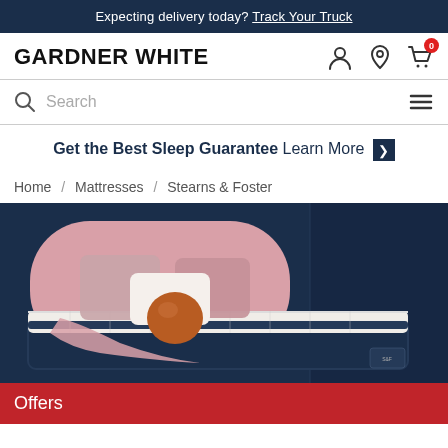Expecting delivery today? Track Your Truck
[Figure (logo): Gardner White logo and navigation icons (person, location pin, shopping cart with 0 badge)]
Search
Get the Best Sleep Guarantee Learn More ❯
Home / Mattresses / Stearns & Foster
[Figure (photo): Stearns & Foster mattress on a bed with pink upholstered headboard, pink and orange pillows, against a dark navy blue wall]
Offers